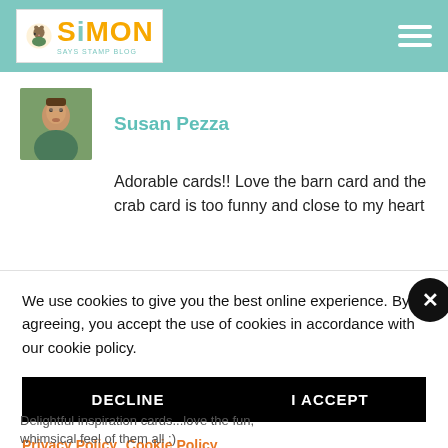Simon Says Stamp Blog
Susan Pezza
Adorable cards!! Love the barn card and the crab card is too funny and close to my heart
We use cookies to give you the best online experience. By agreeing, you accept the use of cookies in accordance with our cookie policy.
DECLINE
I ACCEPT
Privacy Policy   Cookie Policy
Delightful inspiration cards...love the fun, whimsical feel of them all :)